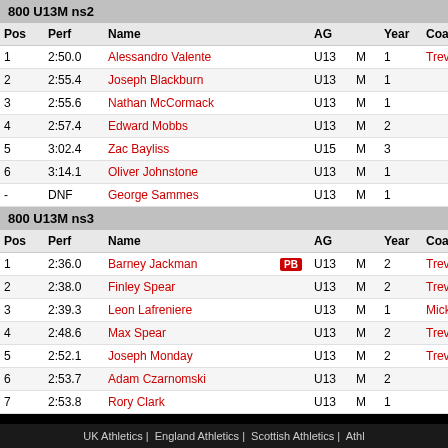800 U13M ns2
| Pos | Perf | Name |  | AG |  | Year | Coach |
| --- | --- | --- | --- | --- | --- | --- | --- |
| 1 | 2:50.0 | Alessandro Valente |  | U13 | M | 1 | Trevor R |
| 2 | 2:55.4 | Joseph Blackburn |  | U13 | M | 1 |  |
| 3 | 2:55.6 | Nathan McCormack |  | U13 | M | 1 |  |
| 4 | 2:57.4 | Edward Mobbs |  | U13 | M | 2 |  |
| 5 | 3:02.4 | Zac Bayliss |  | U15 | M | 3 |  |
| 6 | 3:14.1 | Oliver Johnstone |  | U13 | M | 1 |  |
| - | DNF | George Sammes |  | U13 | M | 1 |  |
800 U13M ns3
| Pos | Perf | Name |  | AG |  | Year | Coach |
| --- | --- | --- | --- | --- | --- | --- | --- |
| 1 | 2:36.0 | Barney Jackman | PB | U13 | M | 2 | Trevor R |
| 2 | 2:38.0 | Finley Spear |  | U13 | M | 2 | Trevor R |
| 3 | 2:39.3 | Leon Lafreniere |  | U13 | M | 1 | Mick W |
| 4 | 2:48.6 | Max Spear |  | U13 | M | 2 | Trevor R |
| 5 | 2:52.1 | Joseph Monday |  | U13 | M | 2 | Trevor R |
| 6 | 2:53.7 | Adam Czarnomski |  | U13 | M | 2 |  |
| 7 | 2:53.8 | Rory Clark |  | U13 | M | 1 |  |
UK Athletics | England Athletics | Scottish Athletics | Athl